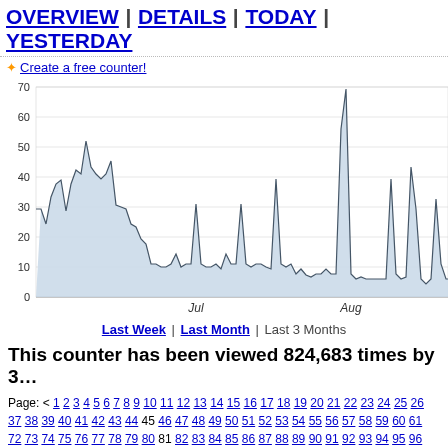OVERVIEW | DETAILS | TODAY | YESTERDAY
✦ Create a free counter!
[Figure (area-chart): Area chart showing website visit counts over approximately 3 months (Jun-Sep). Y-axis 0-70, x-axis shows months Jul and Aug. Peaks around 60 in early period and 63 in August, with value around 47 in September area.]
Last Week | Last Month | Last 3 Months
This counter has been viewed 824,683 times by 3…
Page: < 1 2 3 4 5 6 7 8 9 10 11 12 13 14 15 16 17 18 19 20 21 22 23 24 25 26 37 38 39 40 41 42 43 44 45 46 47 48 49 50 51 52 53 54 55 56 57 58 59 60 61 72 73 74 75 76 77 78 79 80 81 82 83 84 85 86 87 88 89 90 91 92 93 94 95 96
| Date | V |
| --- | --- |
| September 17, 2011 | 5 |